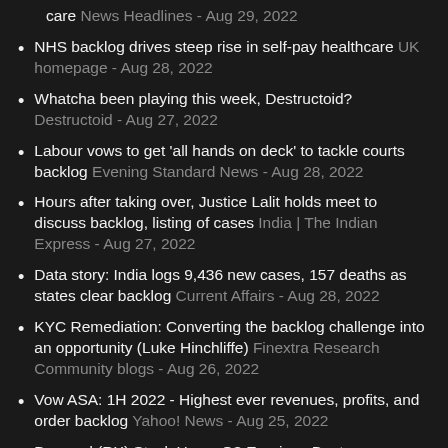care News Headlines - Aug 29, 2022
NHS backlog drives steep rise in self-pay healthcare UK homepage - Aug 28, 2022
Whatcha been playing this week, Destructoid? Destructoid - Aug 27, 2022
Labour vows to get ‘all hands on deck’ to tackle courts backlog Evening Standard News - Aug 28, 2022
Hours after taking over, Justice Lalit holds meet to discuss backlog, listing of cases India | The Indian Express - Aug 27, 2022
Data story: India logs 9,436 new cases, 157 deaths as states clear backlog Current Affairs - Aug 28, 2022
KYC Remediation: Converting the backlog challenge into an opportunity (Luke Hinchliffe) Finextra Research Community blogs - Aug 26, 2022
Vow ASA: 1H 2022 - Highest ever revenues, profits, and order backlog Yahoo! News - Aug 25, 2022
Demand (RX) Stock Has a Q3 Earnings Beat...